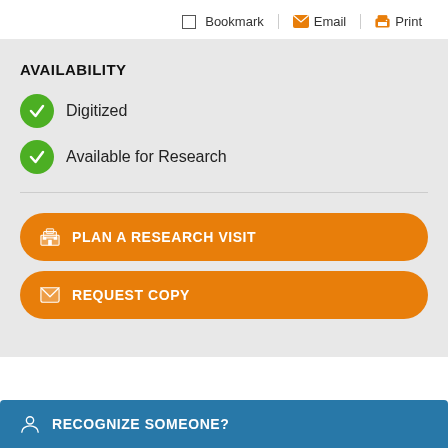Bookmark  Email  Print
AVAILABILITY
Digitized
Available for Research
PLAN A RESEARCH VISIT
REQUEST COPY
RECOGNIZE SOMEONE?